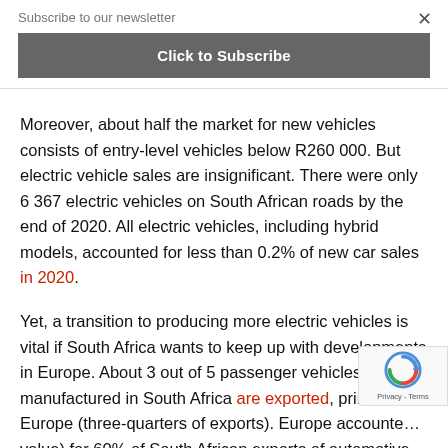Subscribe to our newsletter
Click to Subscribe
Moreover, about half the market for new vehicles consists of entry-level vehicles below R260 000. But electric vehicle sales are insignificant. There were only 6 367 electric vehicles on South African roads by the end of 2020. All electric vehicles, including hybrid models, accounted for less than 0.2% of new car sales in 2020.
Yet, a transition to producing more electric vehicles is vital if South Africa wants to keep up with developments in Europe. About 3 out of 5 passenger vehicles manufactured in South Africa are exported, primarily Europe (three-quarters of exports). Europe accounted value) for 60% of South African exports of automotive